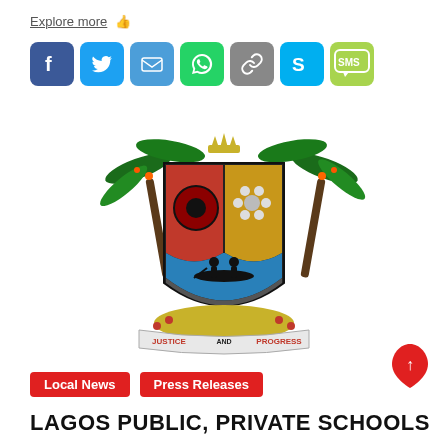Explore more 👍
[Figure (infographic): Social media sharing icons: Facebook (blue), Twitter (light blue), Email (blue), WhatsApp (green), Links (grey), Skype (blue), SMS (green)]
[Figure (logo): Lagos State Government coat of arms — shield with palm trees, featuring red and gold quarters, blue band with boatmen, surrounded by a wreath with the motto JUSTICE AND PROGRESS]
Local News
Press Releases
LAGOS PUBLIC, PRIVATE SCHOOLS